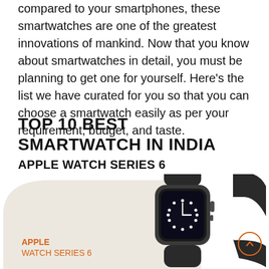compared to your smartphones, these smartwatches are one of the greatest innovations of mankind. Now that you know about smartwatches in detail, you must be planning to get one for yourself. Here's the list we have curated for you so that you can choose a smartwatch easily as per your requirement, budget, and taste.
TOP 10 BEST SMARTWATCH IN INDIA
APPLE WATCH SERIES 6
[Figure (photo): Apple Watch Series 6 product image on a beige curved background with orange label text 'APPLE WATCH SERIES 6' in the lower left, and a dark Apple Watch with black sport band displayed prominently.]